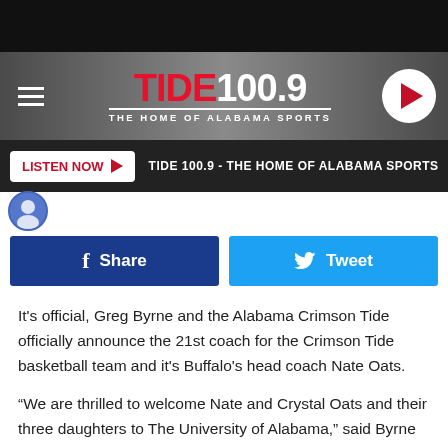TIDE 100.9 - THE HOME OF ALABAMA SPORTS
[Figure (logo): Tide 100.9 The Home of Alabama Sports radio logo with hamburger menu and play button]
LISTEN NOW ▶  TIDE 100.9 - THE HOME OF ALABAMA SPORTS
f  Share    Tweet
It's official, Greg Byrne and the Alabama Crimson Tide officially announce the 21st coach for the Crimson Tide basketball team and it's Buffalo's head coach Nate Oats.
“We are thrilled to welcome Nate and Crystal Oats and their three daughters to The University of Alabama,” said Byrne in a statement sent out by the university. “I have been watching Coach Oats for the last few years as he has led the University at Buffalo to unprecedented heights. His